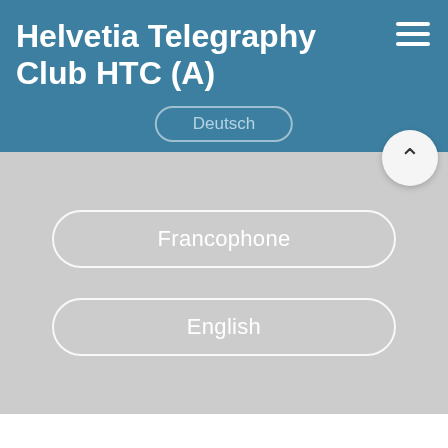Helvetia Telegraphy Club HTC (A)
Deutsch
Francophone
English
About the HTC